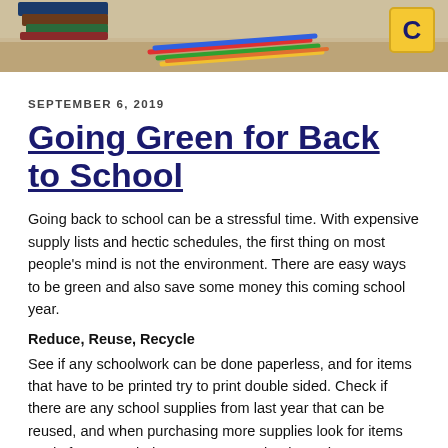[Figure (photo): Banner photo of school supplies: stacked books, colorful pencils/markers on a wooden desk, and a yellow alphabet block showing the letter C, against a blurred background.]
SEPTEMBER 6, 2019
Going Green for Back to School
Going back to school can be a stressful time. With expensive supply lists and hectic schedules, the first thing on most people's mind is not the environment. There are easy ways to be green and also save some money this coming school year.
Reduce, Reuse, Recycle
See if any schoolwork can be done paperless, and for items that have to be printed try to print double sided. Check if there are any school supplies from last year that can be reused, and when purchasing more supplies look for items made from recycled content. For textbooks and